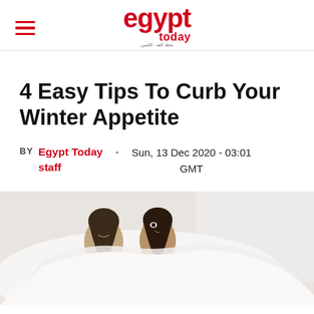egypt today
4 Easy Tips To Curb Your Winter Appetite
BY Egypt Today staff - Sun, 13 Dec 2020 - 03:01 GMT
[Figure (photo): Two young women smiling and cuddled together under a white blanket/shawl, viewed from the side, light background]